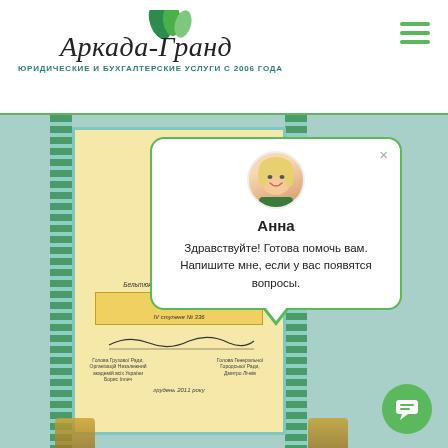Аркада-Гранд — Юридические и бухгалтерские услуги с 2006 года
[Figure (photo): Certificate/diploma document photographed, with decorative borders in teal and green, golden architectural elements, emblem at top, Cyrillic text about an order 'Svyata Anna' IV degree No. 336, with signatures and date 2011]
[Figure (infographic): Chat popup overlay showing assistant named Anna with avatar photo, message: Здравствуйте! Готова помочь вам. Напишите мне, если у вас появятся вопросы.]